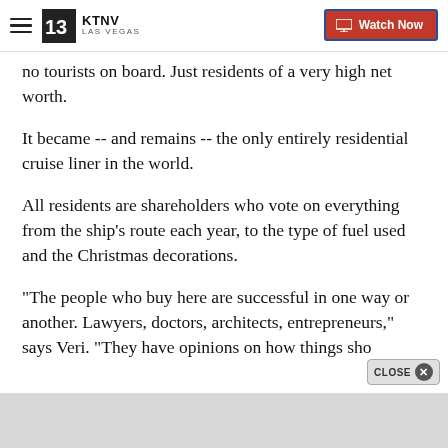KTNV LAS VEGAS | Watch Now
no tourists on board. Just residents of a very high net worth.
It became -- and remains -- the only entirely residential cruise liner in the world.
All residents are shareholders who vote on everything from the ship's route each year, to the type of fuel used and the Christmas decorations.
"The people who buy here are successful in one way or another. Lawyers, doctors, architects, entrepreneurs," says Veri. "They have opinions on how things sho